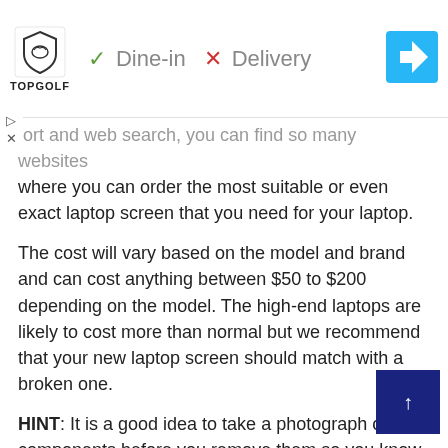[Figure (screenshot): Ad banner: Topgolf logo with checkmark Dine-in and X Delivery badges, and a blue navigation arrow icon on the right]
fort and web search, you can find so many websites where you can order the most suitable or even exact laptop screen that you need for your laptop.
The cost will vary based on the model and brand and can cost anything between $50 to $200 depending on the model. The high-end laptops are likely to cost more than normal but we recommend that your new laptop screen should match with a broken one.
HINT: It is a good idea to take a photograph of the components before you remove them so you know what goes where this is beneficial if you forget where a component goes.
Step 2: Remove the Bezel of the